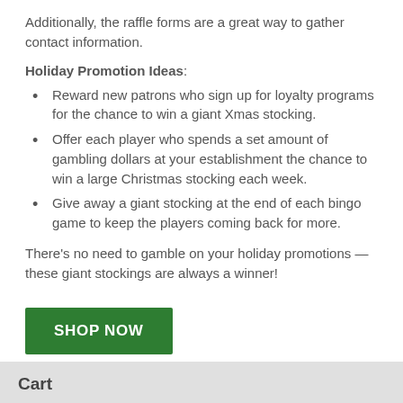Additionally, the raffle forms are a great way to gather contact information.
Holiday Promotion Ideas:
Reward new patrons who sign up for loyalty programs for the chance to win a giant Xmas stocking.
Offer each player who spends a set amount of gambling dollars at your establishment the chance to win a large Christmas stocking each week.
Give away a giant stocking at the end of each bingo game to keep the players coming back for more.
There's no need to gamble on your holiday promotions — these giant stockings are always a winner!
[Figure (other): Green SHOP NOW button]
Cart